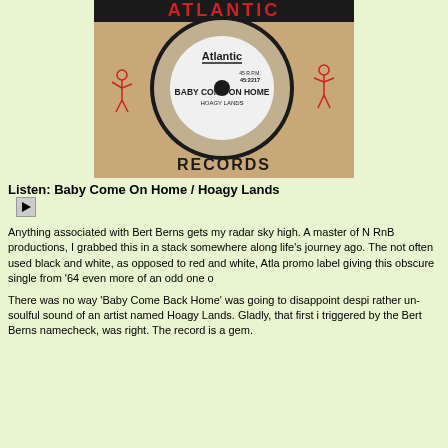[Figure (photo): Atlantic Records 45 RPM vinyl single sleeve and label showing 'Baby Come On Home' by Hoagy Lands, catalog number 45-2217, with Atlantic Records logo and illustrated musician figures on the sleeve.]
Listen: Baby Come On Home / Hoagy Lands
Anything associated with Bert Berns gets my radar sky high. A master of N RnB productions, I grabbed this in a stack somewhere along life's journey ago. The not often used black and white, as opposed to red and white, Atla promo label giving this obscure single from '64 even more of an odd one o
There was no way 'Baby Come Back Home' was going to disappoint despi rather un-soulful sound of an artist named Hoagy Lands. Gladly, that first i triggered by the Bert Berns namecheck, was right. The record is a gem.